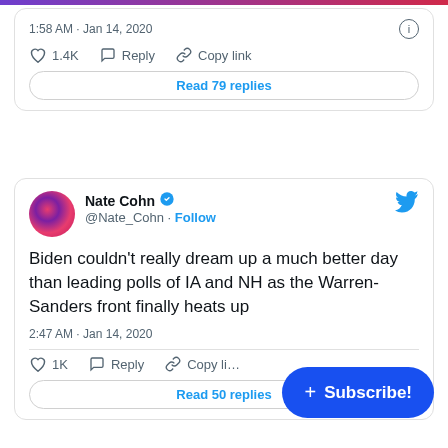[Figure (screenshot): Top portion of a Twitter/social media screenshot showing a tweet card with timestamp 1:58 AM · Jan 14, 2020, likes 1.4K, Reply and Copy link actions, and a Read 79 replies button]
[Figure (screenshot): Twitter tweet card by Nate Cohn (@Nate_Cohn) with verified badge and Follow button. Tweet text: Biden couldn't really dream up a much better day than leading polls of IA and NH as the Warren-Sanders front finally heats up. Timestamp: 2:47 AM · Jan 14, 2020. Actions: 1K likes, Reply, Copy link. Read 50 replies button at bottom. Blue Subscribe! button overlay in bottom right.]